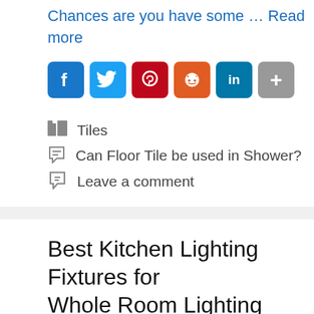Chances are you have some … Read more
[Figure (infographic): Social share buttons: Facebook, Twitter, Pinterest, Reddit, LinkedIn, More (+)]
Tiles
Can Floor Tile be used in Shower?
Leave a comment
Best Kitchen Lighting Fixtures for Whole Room Lighting
June 8, 2020 by Charles Kyalo